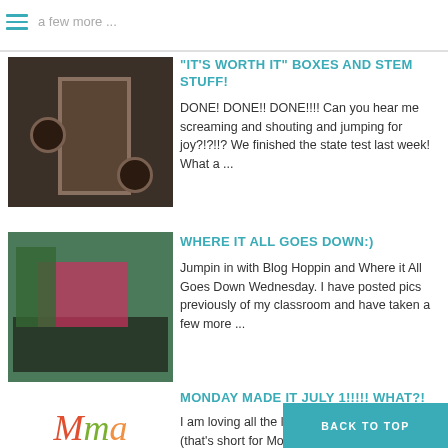a few more ...
"IT'S WORTH IT" BOXES AND STEM STUFF!
DONE!  DONE!! DONE!!!! Can you hear me screaming and shouting and jumping for joy?!?!!?  We finished the state test last week!  What a ...
[Figure (photo): Photo of brown cardboard boxes or display board with circular cutouts]
WHERE IT ALL GOES DOWN:)
Jumpin in with Blog Hoppin and Where it All Goes Down Wednesday.  I have posted pics previously of my classroom and have taken a few more ...
[Figure (photo): Photo of a classroom with tables and chairs]
MONDAY MADE IT JULY 1!!!!! WHAT?!
I am loving all the link ups here on the MMI's (that's short for Monday Made It) BUT......   can I tell you
[Figure (logo): Decorative MMI logo with colored letters Mma]
BACK TO TOP